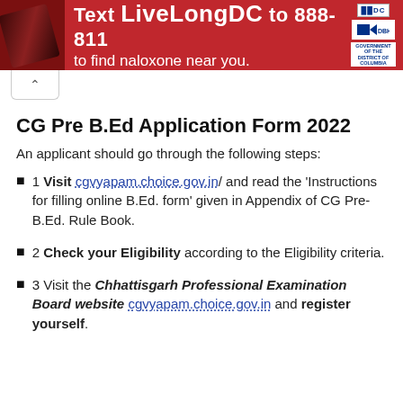[Figure (illustration): Red advertisement banner: Text LiveLongDC to 888-811 to find naloxone near you, with DC government logos on the right and a hand holding a device on the left.]
CG Pre B.Ed Application Form 2022
An applicant should go through the following steps:
1 Visit cgvyapam.choice.gov.in/ and read the ‘Instructions for filling online B.Ed. form’ given in Appendix of CG Pre-B.Ed. Rule Book.
2 Check your Eligibility according to the Eligibility criteria.
3 Visit the Chhattisgarh Professional Examination Board website cgvyapam.choice.gov.in and register yourself.